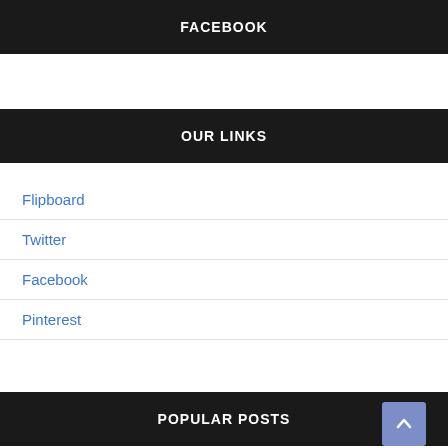FACEBOOK
OUR LINKS
Flipboard
Twitter
Facebook
Pinterest
POPULAR POSTS